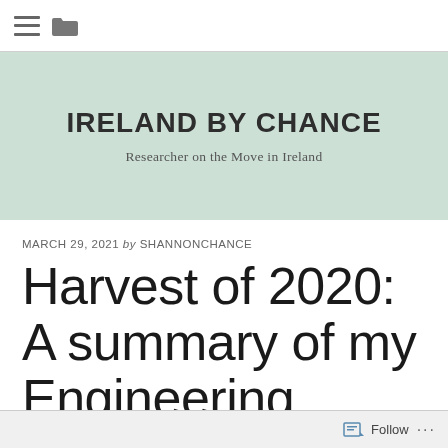≡ [folder icon]
IRELAND BY CHANCE
Researcher on the Move in Ireland
MARCH 29, 2021 by SHANNONCHANCE
Harvest of 2020: A summary of my Engineering
Follow ...